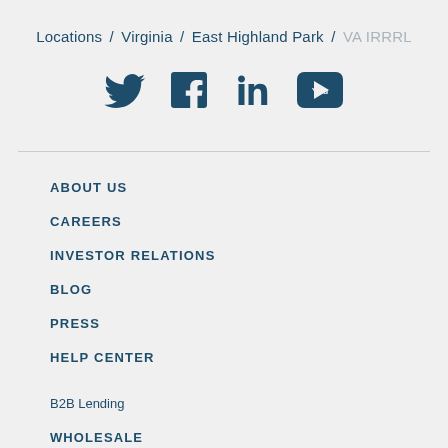Locations / Virginia / East Highland Park / VA IRRRL
[Figure (other): Social media icons: Twitter, Facebook, LinkedIn, YouTube]
ABOUT US
CAREERS
INVESTOR RELATIONS
BLOG
PRESS
HELP CENTER
B2B Lending
WHOLESALE